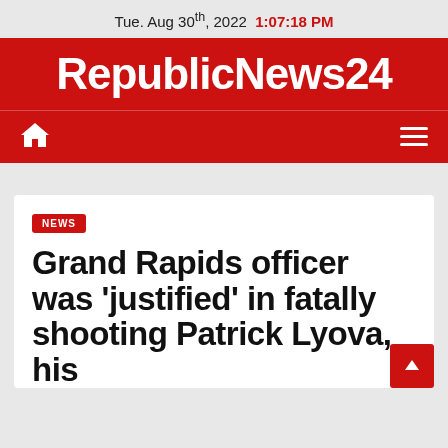Tue. Aug 30th, 2022  1:07:18 PM
RepublicNews24
NEWS
Grand Rapids officer was 'justified' in fatally shooting Patrick Lyova, his